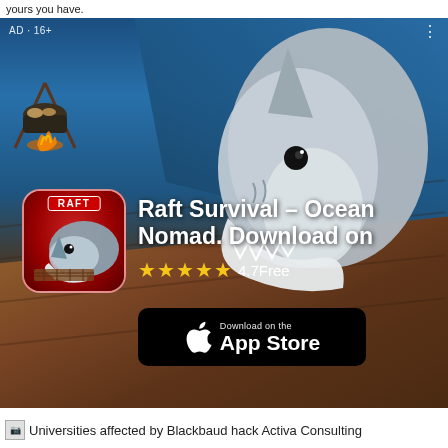yours you have.
[Figure (screenshot): Mobile advertisement for 'Raft Survival – Ocean Nomad' app. Background shows a shark emerging from ocean onto a wooden raft with cooking fire in background. App icon in lower left (red icon with shark). App title 'Raft Survival – Ocean Nomad. Download on' in white bold text, 4 gold stars with rating '4.7Free', and a black 'Download on the App Store' button. AD·16+ label in top left corner. Three-dot menu in top right.]
Raft Survival – Ocean Nomad. Download on
★★★★★ 4.7 Free
Universities affected by Blackbaud hack Activa Consulting